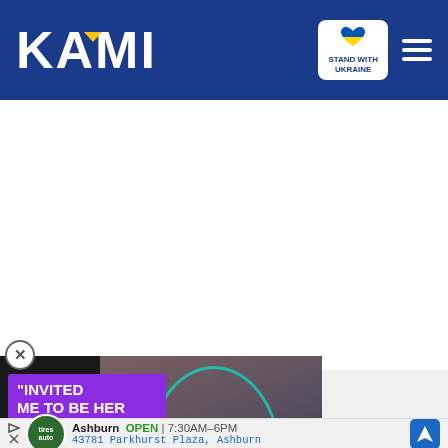[Figure (logo): KAMI logo in white bold text on navy blue header with yellow chevron/triangle accent above the letter A]
[Figure (logo): Stand With Ukraine badge - white rounded rectangle with blue/yellow heart icon and text STAND WITH UKRAINE]
[Figure (screenshot): Video thumbnail showing a couple (bearded man in suit, woman with red hair in black dress) with purple overlay text reading INVITED ME TO BE HER BOYFRIEND and a play button. Red minimize button with down chevron below.]
[Figure (infographic): Advertisement banner for Tires Plus / auto service in Ashburn showing OPEN 7:30AM-6PM, 43781 Parkhurst Plaza Ashburn, with navigation icon]